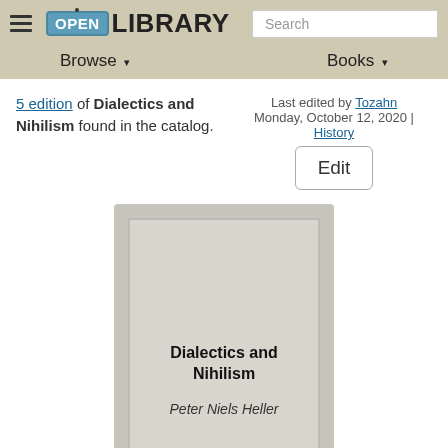OPEN LIBRARY — Browse | Books | Search
5 edition of Dialectics and Nihilism found in the catalog.
Last edited by Tozahn
Monday, October 12, 2020 | History
[Figure (illustration): Book cover placeholder for Dialectics and Nihilism by Peter Niels Heller, shown as a gray rectangle with title and author text]
Dialectics and Nihilism
Peter Niels Heller